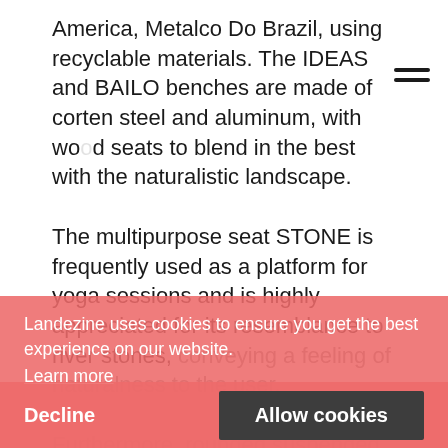America, Metalco Do Brazil, using recyclable materials. The IDEAS and BAILO benches are made of corten steel and aluminum, with wood seats to blend in the best with the naturalistic landscape.
The multipurpose seat STONE is frequently used as a platform for yoga sessions and is highly appreciated for its resemblance to river stones, conveying a feeling of naturalness to the user.
Furthermore, rounded suspended swings have been installed, called TEMPO, installed to let visitors experience the pleasant sensation of the suspended body.
All the above products and their technical data
Landezine uses cookies to ensure you get the best experience on our website.
Learn more
Decline   Allow cookies